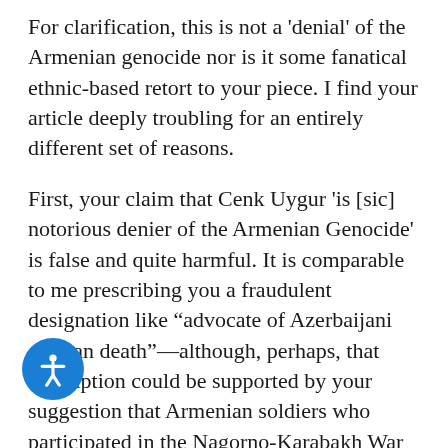For clarification, this is not a 'denial' of the Armenian genocide nor is it some fanatical ethnic-based retort to your piece. I find your article deeply troubling for an entirely different set of reasons.

First, your claim that Cenk Uygur 'is [sic] notorious denier of the Armenian Genocide' is false and quite harmful. It is comparable to me prescribing you a fraudulent designation like “advocate of Azerbaijani civilian death”—although, perhaps, that description could be supported by your suggestion that Armenian soldiers who participated in the Nagorno-Karabakh War (an inter-ethnic conflict where hundreds of thousands of Azerbaijani and Armenians were displaced and thousands killed) were 'heroes' (Q&A at the Hammer Museum)—but I would never dare say such a thing. Uygur has fervently affirmed that the Armenian genocide did happen and has profusely apologized for his erroneous conclusions. Do you have no mercy, sir? Being so ardently pro-Armenian, even to the